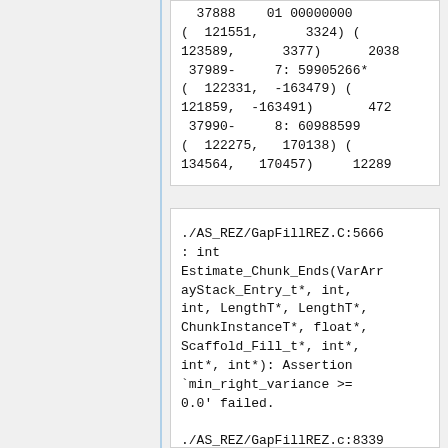( 121551, 3324) ( 123589, 3377) 2038
 37989- 7: 59905266*
( 122331, -163479) ( 121859, -163491) 472
 37990- 8: 60988599
( 122275, 170138) ( 134564, 170457) 12289
./AS_REZ/GapFillREZ.C:5666: int Estimate_Chunk_Ends(VarArrayStack_Entry_t*, int, int, LengthT*, LengthT*, ChunkInstanceT*, float*, Scaffold_Fill_t*, int*, int*, int*): Assertion `min_right_variance >= 0.0' failed.

./AS_REZ/GapFillREZ.c:8339:        "ERROR:  Negative